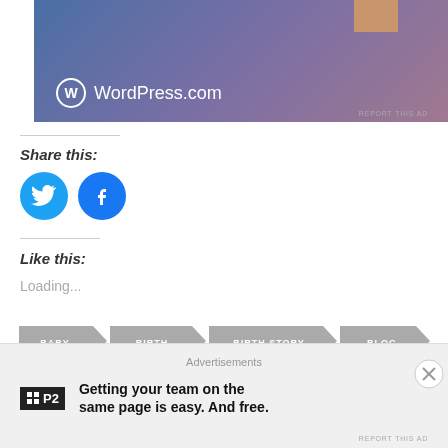[Figure (screenshot): WordPress.com advertisement banner with gradient blue-purple background and gift box icon]
REPORT THIS AD
Share this:
[Figure (illustration): Twitter and Facebook social share icon buttons (blue circles)]
Like this:
Loading...
BABY  BIRTH  BIRTH STORY  BLOG
Advertisements
Getting your team on the same page is easy. And free.
REPORT THIS AD